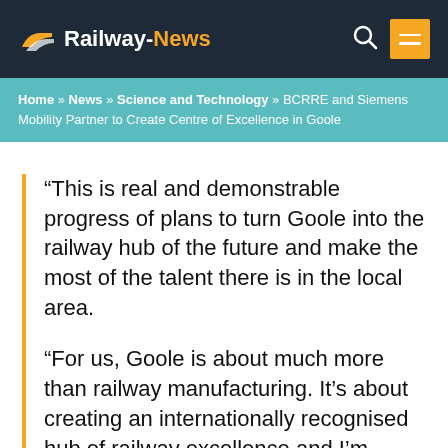Railway-News
Home » News » Science and Technology » BCRRE and Siemens Mobility Partner to Create Centre of Excellence in Goole
“This is real and demonstrable progress of plans to turn Goole into the railway hub of the future and make the most of the talent there is in the local area.
“For us, Goole is about much more than railway manufacturing. It’s about creating an internationally recognised hub of railway excellence and I’m delighted that